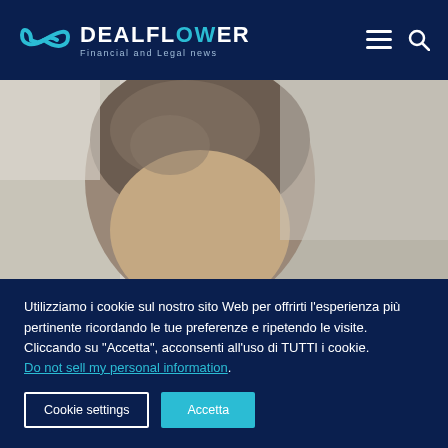DEALFLOWER Financial and Legal news
[Figure (photo): Partial photo of a person's head with blurred background, cropped to show top of head and forehead area]
Utilizziamo i cookie sul nostro sito Web per offrirti l'esperienza più pertinente ricordando le tue preferenze e ripetendo le visite. Cliccando su "Accetta", acconsenti all'uso di TUTTI i cookie. Do not sell my personal information.
Cookie settings  Accetta